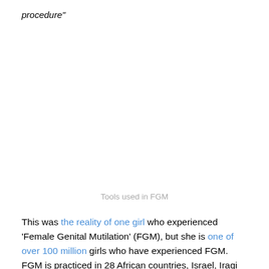procedure"
Tools used in FGM
This was the reality of one girl who experienced 'Female Genital Mutilation' (FGM), but she is one of over 100 million girls who have experienced FGM. FGM is practiced in 28 African countries, Israel, Iraqi Kurdistan, Oman